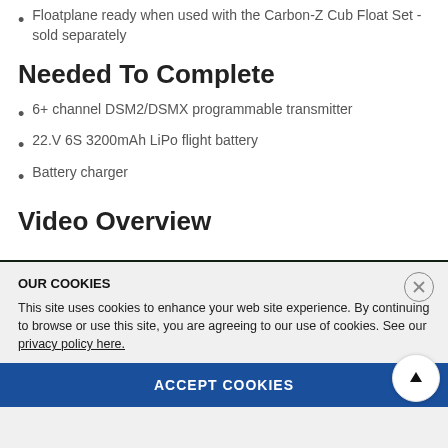Floatplane ready when used with the Carbon-Z Cub Float Set - sold separately
Needed To Complete
6+ channel DSM2/DSMX programmable transmitter
22.V 6S 3200mAh LiPo flight battery
Battery charger
Video Overview
[Figure (screenshot): YouTube video thumbnail showing Carbon-Z Cub BNF Basic and PNP by E-flite, with Horizon Hobby logo and green foliage background]
OUR COOKIES
This site uses cookies to enhance your web site experience. By continuing to browse or use this site, you are agreeing to our use of cookies. See our privacy policy here.
ACCEPT COOKIES